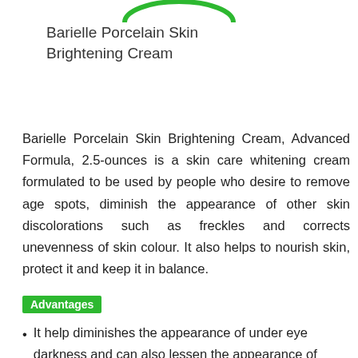[Figure (logo): Green circular logo/brand mark at top center, partially cropped]
Barielle Porcelain Skin Brightening Cream
Barielle Porcelain Skin Brightening Cream, Advanced Formula, 2.5-ounces is a skin care whitening cream formulated to be used by people who desire to remove age spots, diminish the appearance of other skin discolorations such as freckles and corrects unevenness of skin colour. It also helps to nourish skin, protect it and keep it in balance.
Advantages
It help diminishes the appearance of under eye darkness and can also lessen the appearance of